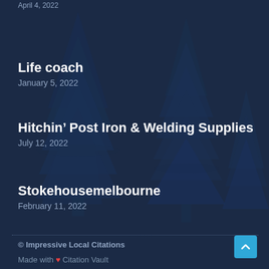April 4, 2022
Life coach
January 5, 2022
Hitchin’ Post Iron & Welding Supplies
July 12, 2022
Stokehousemelbourne
February 11, 2022
© Impressive Local Citations
Made with ♥ Citation Vault